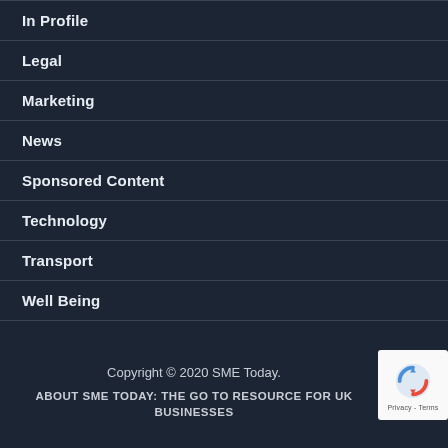In Profile
Legal
Marketing
News
Sponsored Content
Technology
Transport
Well Being
Copyright © 2020 SME Today.
ABOUT SME TODAY: THE GO TO RESOURCE FOR UK BUSINESSES